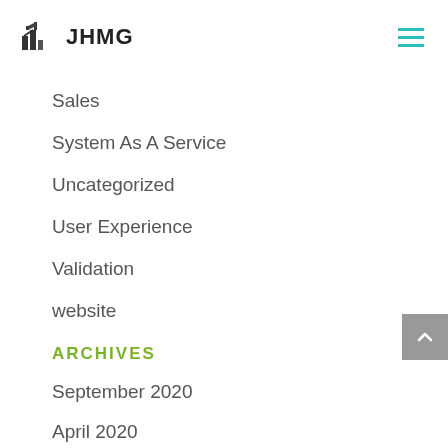JHMG
Sales
System As A Service
Uncategorized
User Experience
Validation
website
ARCHIVES
September 2020
April 2020
February 2020
January 2020